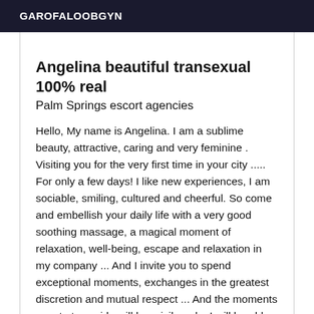GAROFALOOBGYN
Angelina beautiful transexual 100% real
Palm Springs escort agencies
Hello, My name is Angelina. I am a sublime beauty, attractive, caring and very feminine . Visiting you for the very first time in your city ..... For only a few days! I like new experiences, I am sociable, smiling, cultured and cheerful. So come and embellish your daily life with a very good soothing massage, a magical moment of relaxation, well-being, escape and relaxation in my company ... And I invite you to spend exceptional moments, exchanges in the greatest discretion and mutual respect ... And the moments spent at my side will be privileged... I will be able to meet your expectations, I reserve myself to polite gentlemen and impeccable hygiene. I am sparkling with dreamy eyes and I have a velvet skin. I am 27 years old, I am 1.70 m tall and weigh